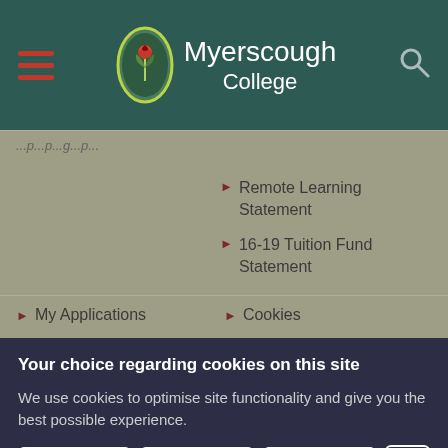[Figure (logo): Myerscough College logo with oval green badge containing a flower/plant symbol, and college name in white text on dark teal header background]
Remote Learning Statement
16-19 Tuition Fund Statement
My Applications
Cookies
Your choice regarding cookies on this site
We use cookies to optimise site functionality and give you the best possible experience.
Accept | Reject | Settings | ×